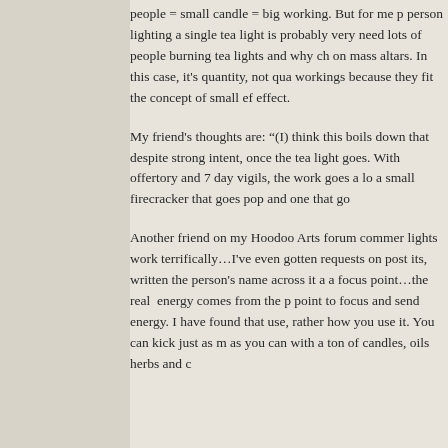people = small candle = big working. But for me p person lighting a single tea light is probably very need lots of people burning tea lights and why ch on mass altars. In this case, it's quantity, not qua workings because they fit the concept of small ef effect.
My friend's thoughts are: “(I) think this boils down that despite strong intent, once the tea light goes. With offertory and 7 day vigils, the work goes a lo a small firecracker that goes pop and one that go
Another friend on my Hoodoo Arts forum commer lights work terrifically…I've even gotten requests on post its, written the person's name across it a a focus point…the real energy comes from the p point to focus and send energy. I have found that use, rather how you use it. You can kick just as m as you can with a ton of candles, oils herbs and c